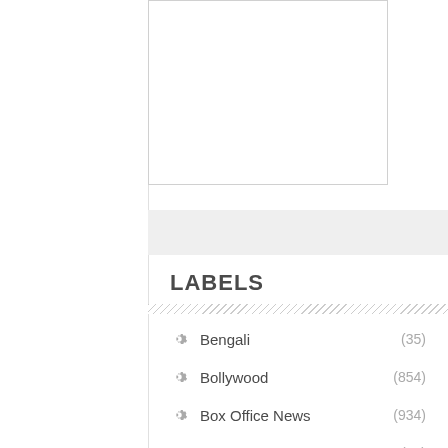[Figure (other): White rectangle image box with border]
LABELS
Bengali (35)
Bollywood (854)
Box Office News (934)
Comparison (54)